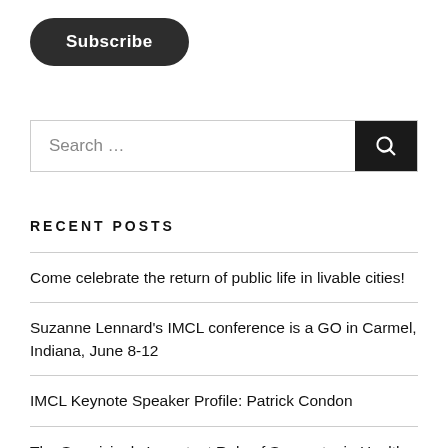[Figure (other): Subscribe button — dark rounded pill-shaped button with white bold text]
[Figure (other): Search input field with dark search button icon on the right]
RECENT POSTS
Come celebrate the return of public life in livable cities!
Suzanne Lennard's IMCL conference is a GO in Carmel, Indiana, June 8-12
IMCL Keynote Speaker Profile: Patrick Condon
The Surprisingly Important Role of Symmetry in Healthy Places